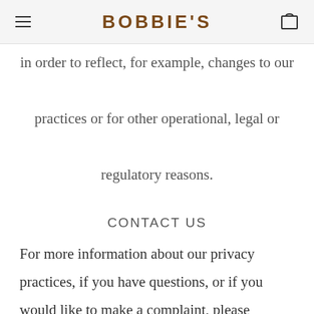BOBBIE'S
in order to reflect, for example, changes to our practices or for other operational, legal or regulatory reasons.
CONTACT US
For more information about our privacy practices, if you have questions, or if you would like to make a complaint, please contact us by telephone at 020 32874333, or alternatively via e-mail at